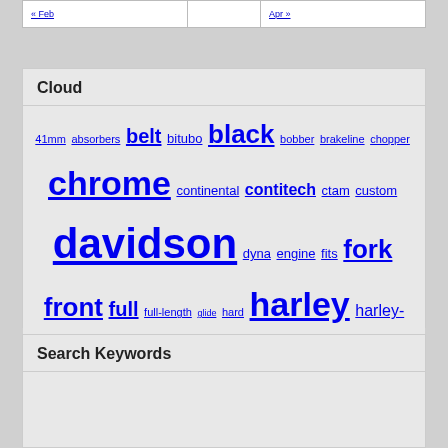| « Feb |  | Apr » |
| --- | --- | --- |
|  |
Cloud
41mm absorbers belt bitubo black bobber brakeline chopper chrome continental contitech ctam custom davidson dyna engine fits fork front full full-length glide hard harley harley-davidson length pera rear replacement seat shock silhouette smooth softail sportster springer steel stock timing total touring tube v-twin vinyl withabs
Search Keywords